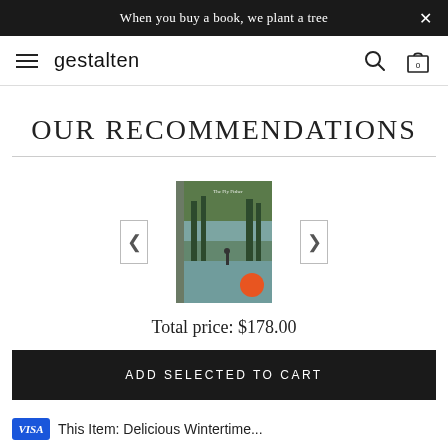When you buy a book, we plant a tree
gestalten
OUR RECOMMENDATIONS
[Figure (photo): Book cover showing a person standing near water with trees, with an orange circle badge in the lower right corner]
Total price: $178.00
ADD SELECTED TO CART
This Item: Delicious Wintertime...